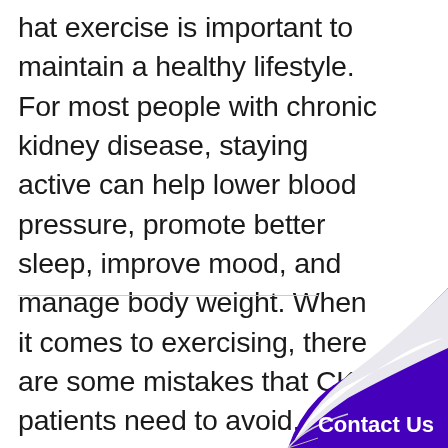hat exercise is important to maintain a healthy lifestyle. For most people with chronic kidney disease, staying active can help lower blood pressure, promote better sleep, improve mood, and manage body weight. When it comes to exercising, there are some mistakes that CKD patients need to avoid. If not, you could be [...]
[Figure (illustration): Page curl in bottom-right corner with dark purple/blue color behind the curl, showing a white curling page effect. A 'Contact Us' button label appears in white bold text on the purple background.]